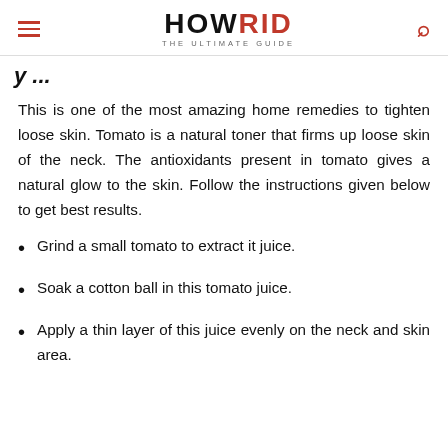HOWRID THE ULTIMATE GUIDE
y ... g ...
This is one of the most amazing home remedies to tighten loose skin. Tomato is a natural toner that firms up loose skin of the neck. The antioxidants present in tomato gives a natural glow to the skin. Follow the instructions given below to get best results.
Grind a small tomato to extract it juice.
Soak a cotton ball in this tomato juice.
Apply a thin layer of this juice evenly on the neck and skin area.